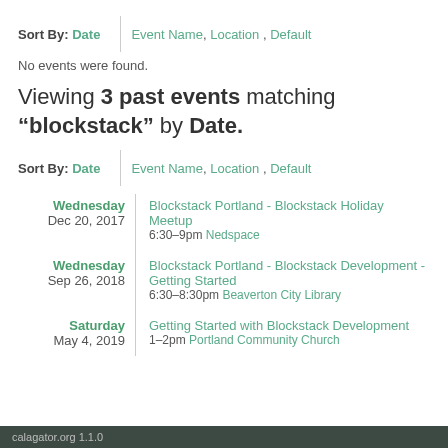Sort By: Date | Event Name, Location, Default
No events were found.
Viewing 3 past events matching “blockstack” by Date.
Sort By: Date | Event Name, Location, Default
Wednesday Dec 20, 2017 | Blockstack Portland - Blockstack Holiday Meetup 6:30–9pm Nedspace
Wednesday Sep 26, 2018 | Blockstack Portland - Blockstack Development - Getting Started 6:30–8:30pm Beaverton City Library
Saturday May 4, 2019 | Getting Started with Blockstack Development 1–2pm Portland Community Church
calagator.org 1.1.0